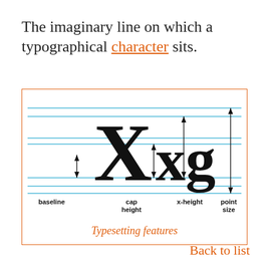The imaginary line on which a typographical character sits.
[Figure (illustration): Typography diagram showing letters X, x, and g with horizontal lines indicating baseline, cap height, x-height, and point size measurements. Caption reads 'Typesetting features'.]
Back to list